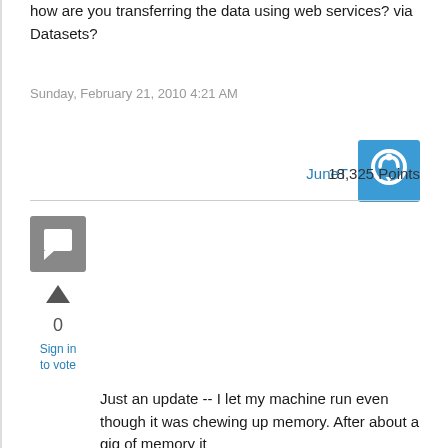how are you transferring the data using web services? via Datasets?
Sunday, February 21, 2010 4:21 AM
[Figure (illustration): Blue square user avatar icon with a cloud and sync/refresh arrow symbol for user JuneT]
JuneT   18,325 Points
[Figure (illustration): Gray square comment/reply avatar icon]
[Figure (illustration): Upvote triangle arrow icon]
0
Sign in to vote
Just an update -- I let my machine run even though it was chewing up memory.  After about a gig of memory it